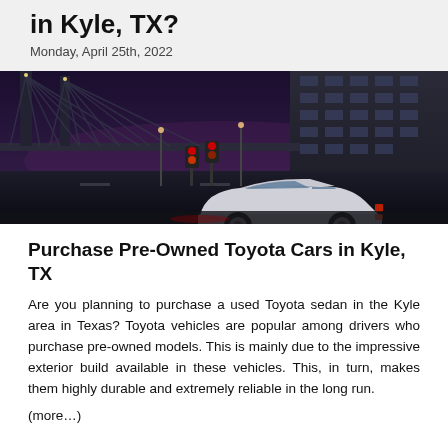in Kyle, TX?
Monday, April 25th, 2022
[Figure (photo): A white Toyota sedan photographed at night near a large bridge and urban buildings, with red traffic lights and city lights in the background.]
Purchase Pre-Owned Toyota Cars in Kyle, TX
Are you planning to purchase a used Toyota sedan in the Kyle area in Texas? Toyota vehicles are popular among drivers who purchase pre-owned models. This is mainly due to the impressive exterior build available in these vehicles. This, in turn, makes them highly durable and extremely reliable in the long run.
(more…)